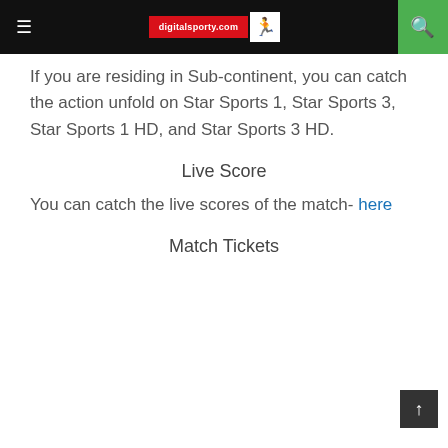digitalsporty.com
If you are residing in Sub-continent, you can catch the action unfold on Star Sports 1, Star Sports 3, Star Sports 1 HD, and Star Sports 3 HD.
Live Score
You can catch the live scores of the match- here
Match Tickets